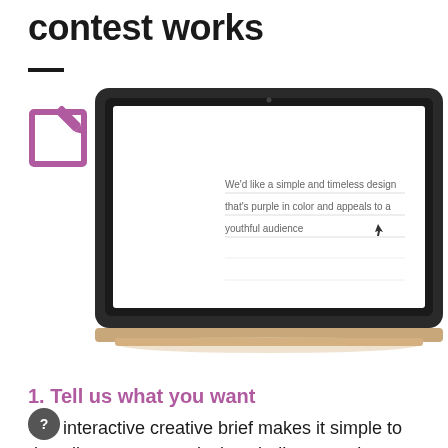contest works
[Figure (screenshot): Edit icon (purple square with pencil) on the left, and a laptop screenshot showing a creative brief form with text: We'd like a simple and timeless design that's purple in color and appeals to a youthful audience]
1. Tell us what you want
Our interactive creative brief makes it simple to describe your menu design challenge and set your